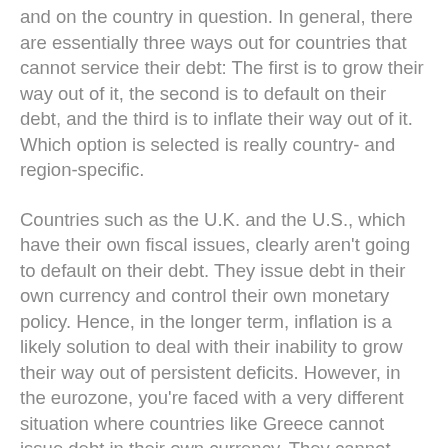and on the country in question. In general, there are essentially three ways out for countries that cannot service their debt: The first is to grow their way out of it, the second is to default on their debt, and the third is to inflate their way out of it. Which option is selected is really country- and region-specific.
Countries such as the U.K. and the U.S., which have their own fiscal issues, clearly aren't going to default on their debt. They issue debt in their own currency and control their own monetary policy. Hence, in the longer term, inflation is a likely solution to deal with their inability to grow their way out of persistent deficits. However, in the eurozone, you're faced with a very different situation where countries like Greece cannot issue debt in their own currency. They cannot debase their currency, which makes their economy more competitive, and so it is unlikely that they can grow their way out of it. So the only possible outcome (other than an outright default)